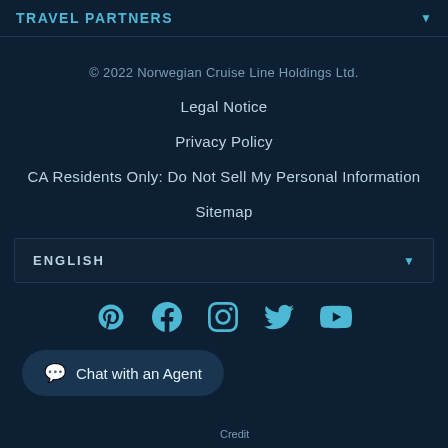TRAVEL PARTNERS
© 2022 Norwegian Cruise Line Holdings Ltd.
Legal Notice
Privacy Policy
CA Residents Only: Do Not Sell My Personal Information
Sitemap
ENGLISH
[Figure (illustration): Social media icons: Pinterest, Facebook, Instagram, Twitter, YouTube]
Chat with an Agent
Credit